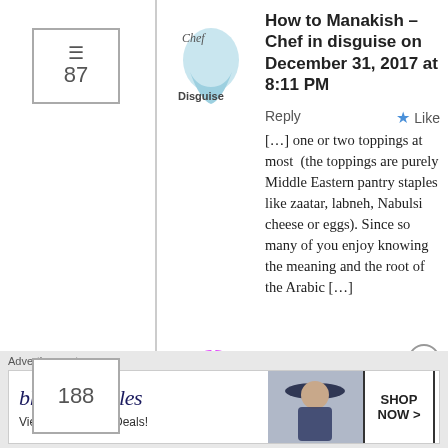87
[Figure (logo): Chef in Disguise blog avatar with cursive script and 'Disguise' text]
How to Manakish – Chef in disguise on December 31, 2017 at 8:11 PM
Reply
Like
[…] one or two toppings at most  (the toppings are purely Middle Eastern pantry staples like zaatar, labneh, Nabulsi cheese or eggs). Since so many of you enjoy knowing the meaning and the root of the Arabic […]
188
[Figure (logo): Magenta pixel/diamond pattern avatar for user JJ]
JJ on January 8, 2018 at 7:34 PM
Reply
Like
I remember the big jar of labneh in olive oil at my grandmother's house
Advertisements
[Figure (other): Bloomingdale's advertisement banner: 'View Today's Top Deals!' with woman in wide-brim hat and SHOP NOW button]